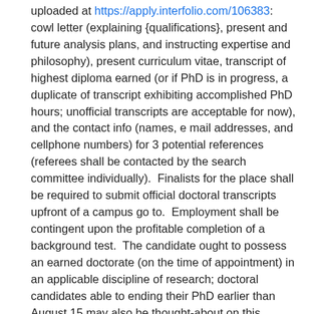uploaded at https://apply.interfolio.com/106383: cowl letter (explaining {qualifications}, present and future analysis plans, and instructing expertise and philosophy), present curriculum vitae, transcript of highest diploma earned (or if PhD is in progress, a duplicate of transcript exhibiting accomplished PhD hours; unofficial transcripts are acceptable for now), and the contact info (names, e mail addresses, and cellphone numbers) for 3 potential references (referees shall be contacted by the search committee individually).  Finalists for the place shall be required to submit official doctoral transcripts upfront of a campus go to.  Employment shall be contingent upon the profitable completion of a background test.  The candidate ought to possess an earned doctorate (on the time of appointment) in an applicable discipline of research; doctoral candidates able to ending their PhD earlier than August 15 may also be thought-about on this search.